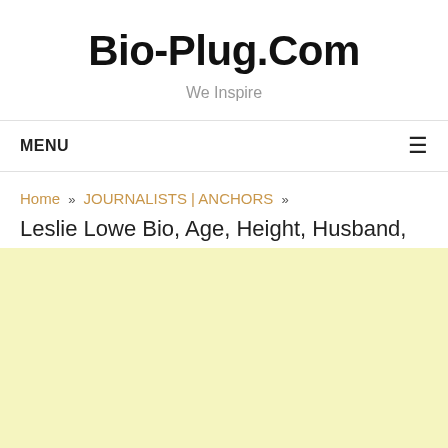Bio-Plug.Com
We Inspire
MENU
Home » JOURNALISTS | ANCHORS »
Leslie Lowe Bio, Age, Height, Husband, Kids, Salary, KXLY
[Figure (other): Light yellow advertisement block placeholder]